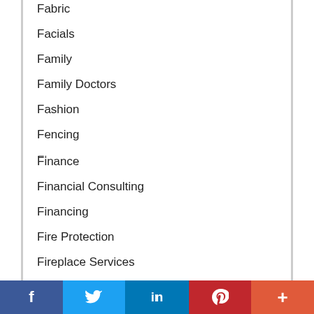Fabric
Facials
Family
Family Doctors
Fashion
Fencing
Finance
Financial Consulting
Financing
Fire Protection
Fireplace Services
Firewood Services
Fishing
Fishing Related
f  Twitter  in  P  +